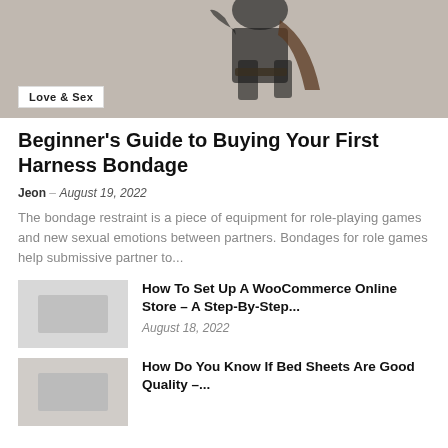[Figure (photo): Person wearing black fishnet bodysuit and leather harness bondage gear, posed against a light background. Category badge 'Love & Sex' overlaid at bottom left.]
Beginner's Guide to Buying Your First Harness Bondage
Jeon – August 19, 2022
The bondage restraint is a piece of equipment for role-playing games and new sexual emotions between partners. Bondages for role games help submissive partner to...
How To Set Up A WooCommerce Online Store – A Step-By-Step...
August 18, 2022
How Do You Know If Bed Sheets Are Good Quality –...